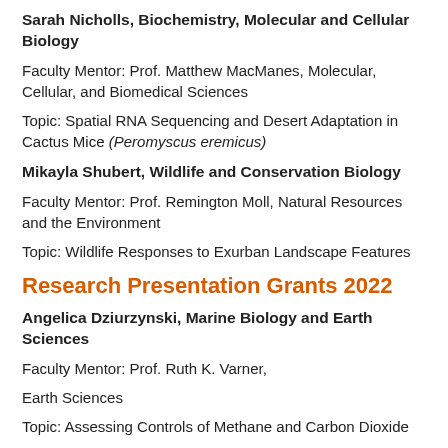Sarah Nicholls, Biochemistry, Molecular and Cellular Biology
Faculty Mentor: Prof. Matthew MacManes, Molecular, Cellular, and Biomedical Sciences
Topic: Spatial RNA Sequencing and Desert Adaptation in Cactus Mice (Peromyscus eremicus)
Mikayla Shubert, Wildlife and Conservation Biology
Faculty Mentor: Prof. Remington Moll, Natural Resources and the Environment
Topic: Wildlife Responses to Exurban Landscape Features
Research Presentation Grants 2022
Angelica Dziurzynski, Marine Biology and Earth Sciences
Faculty Mentor: Prof. Ruth K. Varner,
Earth Sciences
Topic: Assessing Controls of Methane and Carbon Dioxide